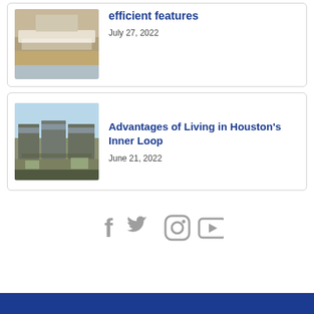[Figure (photo): Kitchen interior photo showing island and cabinetry]
efficient features
July 27, 2022
[Figure (photo): Exterior rendering of modern mixed-use building in Houston's Inner Loop with pedestrians]
Advantages of Living in Houston's Inner Loop
June 21, 2022
[Figure (infographic): Social media icons: Facebook, Twitter, Instagram, YouTube]